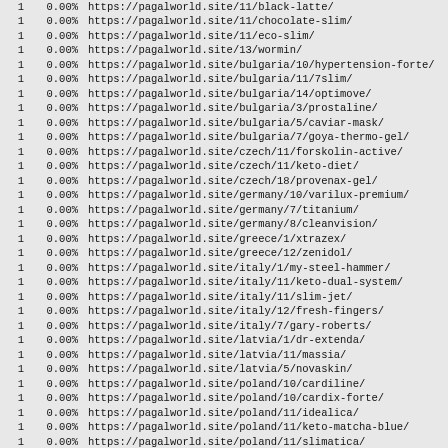|  |  |  |
| --- | --- | --- |
| 1 | 0.00% | https://pagalworld.site/11/black-latte/ |
| 1 | 0.00% | https://pagalworld.site/11/chocolate-slim/ |
| 1 | 0.00% | https://pagalworld.site/11/eco-slim/ |
| 1 | 0.00% | https://pagalworld.site/13/wormin/ |
| 1 | 0.00% | https://pagalworld.site/bulgaria/10/hypertension-forte/ |
| 1 | 0.00% | https://pagalworld.site/bulgaria/11/7slim/ |
| 1 | 0.00% | https://pagalworld.site/bulgaria/14/optimove/ |
| 1 | 0.00% | https://pagalworld.site/bulgaria/3/prostaline/ |
| 1 | 0.00% | https://pagalworld.site/bulgaria/5/caviar-mask/ |
| 1 | 0.00% | https://pagalworld.site/bulgaria/7/goya-thermo-gel/ |
| 1 | 0.00% | https://pagalworld.site/czech/11/forskolin-active/ |
| 1 | 0.00% | https://pagalworld.site/czech/11/keto-diet/ |
| 1 | 0.00% | https://pagalworld.site/czech/18/provenax-gel/ |
| 1 | 0.00% | https://pagalworld.site/germany/10/varilux-premium/ |
| 1 | 0.00% | https://pagalworld.site/germany/7/titanium/ |
| 1 | 0.00% | https://pagalworld.site/germany/8/cleanvision/ |
| 1 | 0.00% | https://pagalworld.site/greece/1/xtrazex/ |
| 1 | 0.00% | https://pagalworld.site/greece/12/zenidol/ |
| 1 | 0.00% | https://pagalworld.site/italy/1/my-steel-hammer/ |
| 1 | 0.00% | https://pagalworld.site/italy/11/keto-dual-system/ |
| 1 | 0.00% | https://pagalworld.site/italy/11/slim-jet/ |
| 1 | 0.00% | https://pagalworld.site/italy/12/fresh-fingers/ |
| 1 | 0.00% | https://pagalworld.site/italy/7/gary-roberts/ |
| 1 | 0.00% | https://pagalworld.site/latvia/1/dr-extenda/ |
| 1 | 0.00% | https://pagalworld.site/latvia/11/massia/ |
| 1 | 0.00% | https://pagalworld.site/latvia/5/novaskin/ |
| 1 | 0.00% | https://pagalworld.site/poland/10/cardiline/ |
| 1 | 0.00% | https://pagalworld.site/poland/10/cardix-forte/ |
| 1 | 0.00% | https://pagalworld.site/poland/11/idealica/ |
| 1 | 0.00% | https://pagalworld.site/poland/11/keto-matcha-blue/ |
| 1 | 0.00% | https://pagalworld.site/poland/11/slimatica/ |
| 1 | 0.00% | https://pagalworld.site/spain/13/wortex/ |
| 1 | 0.00% | https://pagalworld.site/spain/15/propatent/ |
| 1 | 0.00% | https://passport-cloud.ru |
| 1 | 0.00% | https://pharmfriend.site/big-zilla/ |
| 1 | 0.00% | https://pharmfriend.site/blr/allen-karr/ |
| 1 | 0.00% | https://pharmfriend.site/blr/biokompleks/ |
| 1 | 0.00% | https://pharmfriend.site/blr/cledbel-24k-gold/ |
| 1 | 0.00% | https://pharmfriend.site/blr/extra-extaz/ |
| 1 | 0.00% | https://pharmfriend.site/blr/molot-tora/ |
| 1 | 0.00% | https://pharmfriend.site/blr/venumiton/ |